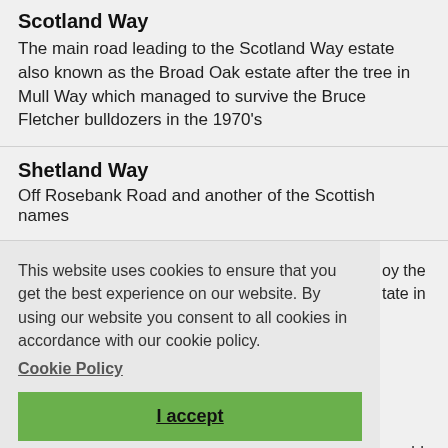Scotland Way
The main road leading to the Scotland Way estate also known as the Broad Oak estate after the tree in Mull Way which managed to survive the Bruce Fletcher bulldozers in the 1970's
Shetland Way
Off Rosebank Road and another of the Scottish names
This website uses cookies to ensure that you get the best experience on our website. By using our website you consent to all cookies in accordance with our cookie policy.
Cookie Policy
I accept
oy the
tate in
would
d
nding
was
Gillam Butts, Topball and Marston